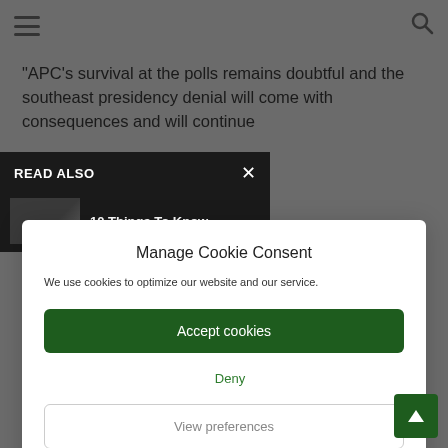Navigation bar with hamburger menu and search icon
“APC’s survival at the polls remains doubtful and the southeast presidency denial will come with consequences and will continue
READ ALSO ×
10 Things To Know
Manage Cookie Consent
We use cookies to optimize our website and our service.
Accept cookies
Deny
View preferences